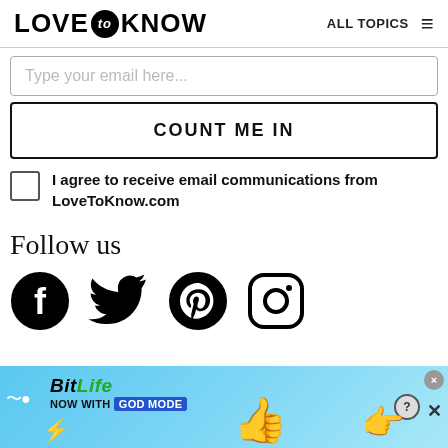LOVE to KNOW — ALL TOPICS
Type your email here...
COUNT ME IN
I agree to receive email communications from LoveToKnow.com
Follow us
[Figure (illustration): Social media icons row: Facebook, Twitter, Pinterest, Instagram]
[Figure (illustration): BitLife ad banner: BitLife NOW WITH GOD MODE advertisement with hand/thumb graphics]